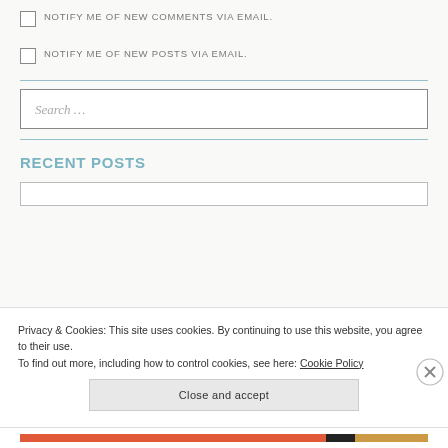NOTIFY ME OF NEW COMMENTS VIA EMAIL.
NOTIFY ME OF NEW POSTS VIA EMAIL.
RECENT POSTS
Privacy & Cookies: This site uses cookies. By continuing to use this website, you agree to their use. To find out more, including how to control cookies, see here: Cookie Policy
Close and accept